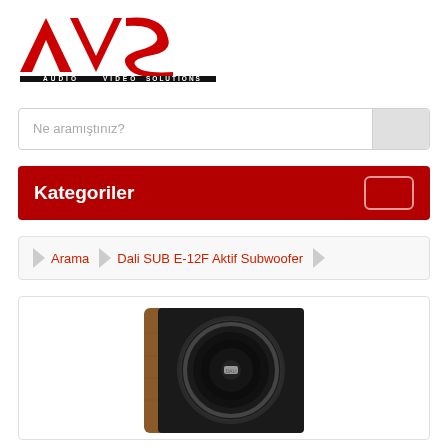[Figure (logo): AVS Audio Video Solutions logo — red and black triangular/arrow letters A, V, S with black bar below reading AUDIO VIDEO SOLUTIONS]
Ne aramıştınız?
Kategoriler
Arama › Dali SUB E-12F Aktif Subwoofer
[Figure (photo): Dali SUB E-12F Aktif Subwoofer — a wooden-cabinet subwoofer speaker with a large circular black driver and black front panel, walnut wood veneer sides]